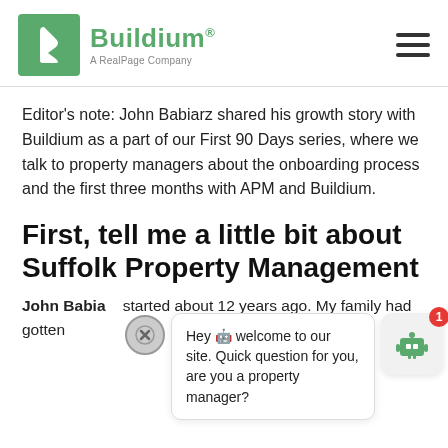[Figure (logo): Buildium logo: green square with white stylized flag/cursor icon, followed by 'Buildium' in green bold text and 'A RealPage Company' subtitle, with hamburger menu icon on right]
Editor's note: John Babiarz shared his growth story with Buildium as a part of our First 90 Days series, where we talk to property managers about the onboarding process and the first three months with APM and Buildium.
First, tell me a little bit about Suffolk Property Management
John Babia… started about 12 years ago. My family had gotten
Hey 🤖 welcome to our site. Quick question for you, are you a property manager?